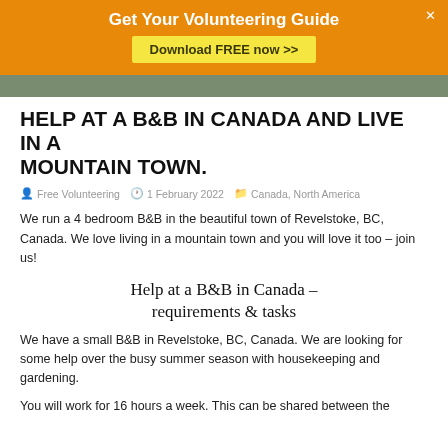Get Your Volunteering Guide
Download FREE now >>
[Figure (photo): Cropped photo of people, partial view visible as a strip]
HELP AT A B&B IN CANADA AND LIVE IN A MOUNTAIN TOWN.
Free Volunteering   1 February 2022   Canada, North America
We run a 4 bedroom B&B in the beautiful town of Revelstoke, BC, Canada. We love living in a mountain town and you will love it too – join us!
Help at a B&B in Canada – requirements & tasks
We have a small B&B in Revelstoke, BC, Canada. We are looking for some help over the busy summer season with housekeeping and gardening.
You will work for 16 hours a week. This can be shared between the